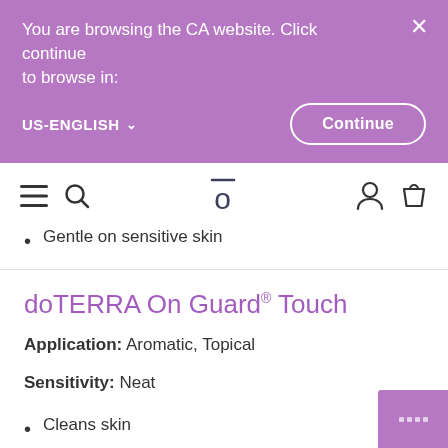You are browsing the CA website. Click continue to browse in:
US-ENGLISH
Continue
[Figure (screenshot): Navigation bar with hamburger menu, search icon, doTERRA logo, user icon, and shopping bag icon]
Gentle on sensitive skin
doTERRA On Guard® Touch
Application: Aromatic, Topical
Sensitivity: Neat
Cleans skin